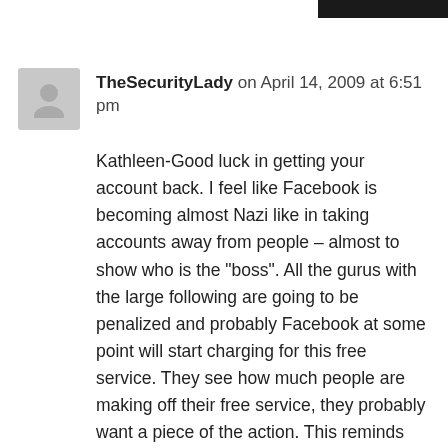TheSecurityLady on April 14, 2009 at 6:51 pm
Kathleen-Good luck in getting your account back. I feel like Facebook is becoming almost Nazi like in taking accounts away from people – almost to show who is the "boss". All the gurus with the large following are going to be penalized and probably Facebook at some point will start charging for this free service. They see how much people are making off their free service, they probably want a piece of the action. This reminds me of the FREE bailout the Gov just gave to the financial institutions and car companies. We see how quickly they show these companies who is boss by